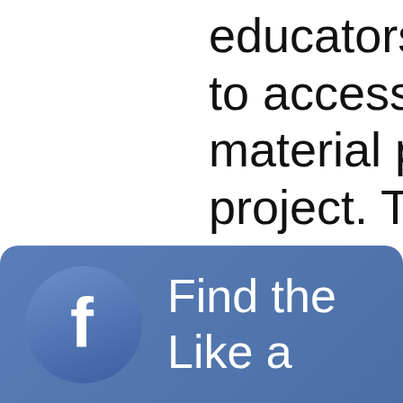educators, and the … to access the full br… material produced … project. The archive… guggenheim.org/arc…
[Figure (infographic): Facebook banner with Facebook logo icon on the left and text 'Find the ... Like ...' on the right, on a blue gradient background.]